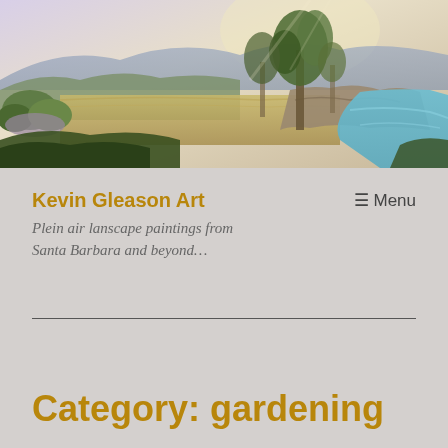[Figure (illustration): Plein air landscape painting showing rolling fields, eucalyptus trees on rocky cliffs, mountains in the background with soft sky, and ocean/bay visible on the right side — warm golden light.]
Kevin Gleason Art
Plein air lanscape paintings from Santa Barbara and beyond…
≡ Menu
Category: gardening